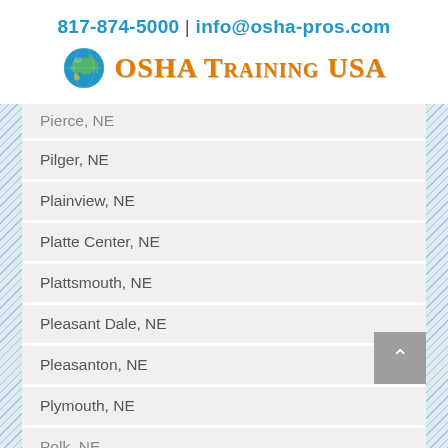817-874-5000 | info@osha-pros.com
[Figure (logo): OSHA Training USA logo with globe icon]
Pierce, NE
Pilger, NE
Plainview, NE
Platte Center, NE
Plattsmouth, NE
Pleasant Dale, NE
Pleasanton, NE
Plymouth, NE
Polk, NE